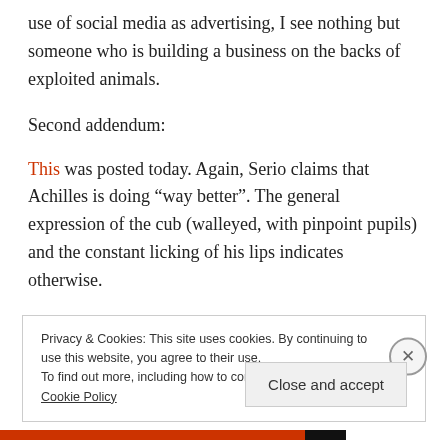use of social media as advertising, I see nothing but someone who is building a business on the backs of exploited animals.
Second addendum:
This was posted today. Again, Serio claims that Achilles is doing “way better”. The general expression of the cub (walleyed, with pinpoint pupils) and the constant licking of his lips indicates otherwise.
Privacy & Cookies: This site uses cookies. By continuing to use this website, you agree to their use. To find out more, including how to control cookies, see here: Cookie Policy
Close and accept